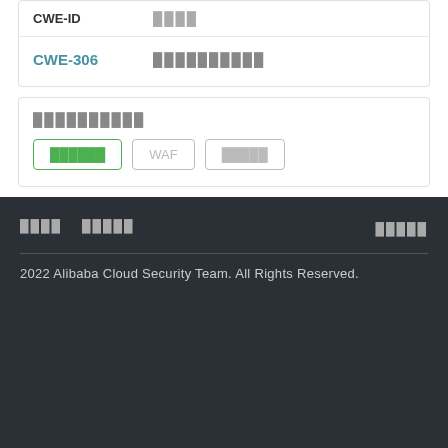| CWE-ID | ████ |
| --- | --- |
| CWE-306 | ██████████ |
██████████
██████  WAF  █████
████  █████  █████
2022 Alibaba Cloud Security Team. All Rights Reserved.